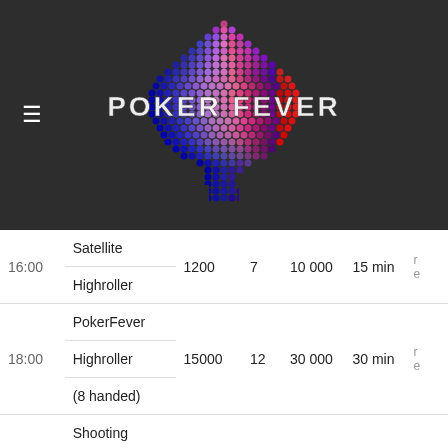[Figure (logo): Poker Fever logo: a spade shape made of colorful dots (blue, purple, pink, red) with the text POKER FEVER in white block letters overlaid]
| Time | Event | Buy-in | Lvl | Chips | Blind |  |
| --- | --- | --- | --- | --- | --- | --- |
| 16:00 | Satellite Highroller | 1200 | 7 | 10 000 | 15 min | r e |
| 18:00 | PokerFever Highroller (8 handed) | 15000 | 12 | 30 000 | 30 min | r e |
| 19:00 | Shooting Star (Added Bounty on | 2700 | 8 | 20 000 | 20 min | 2 n |